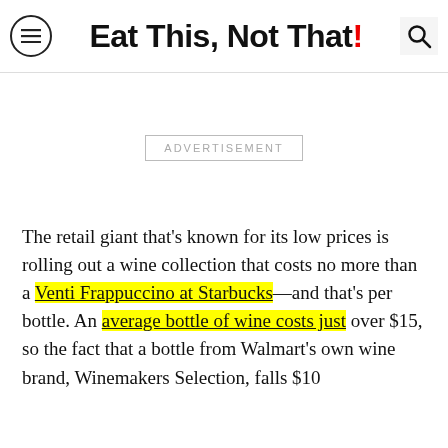Eat This, Not That!
[Figure (other): Advertisement placeholder box]
The retail giant that's known for its low prices is rolling out a wine collection that costs no more than a Venti Frappuccino at Starbucks—and that's per bottle. An average bottle of wine costs just over $15, so the fact that a bottle from Walmart's own wine brand, Winemakers Selection, falls $10